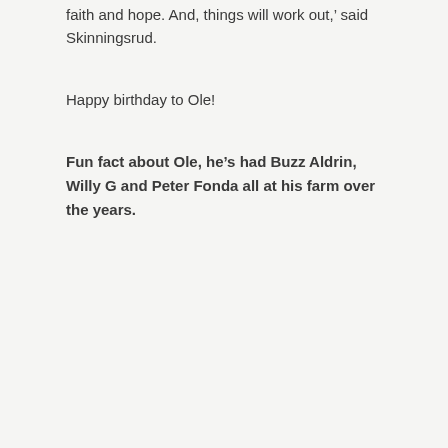faith and hope. And, things will work out,' said Skinningsrud.
Happy birthday to Ole!
Fun fact about Ole, he's had Buzz Aldrin, Willy G and Peter Fonda all at his farm over the years.